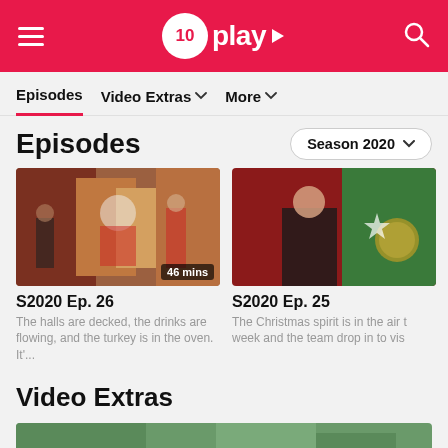[Figure (screenshot): 10 Play streaming website header with red background, hamburger menu icon on left, 10 Play logo in center, search icon on right]
10 play
Episodes
Video Extras
More
Episodes
Season 2020
[Figure (photo): S2020 Ep. 26 thumbnail showing group of people with Santa Claus and a reindeer, Christmas themed. Duration badge shows 46 mins.]
S2020 Ep. 26
The halls are decked, the drinks are flowing, and the turkey is in the oven. It'...
[Figure (photo): S2020 Ep. 25 thumbnail showing a man in black shirt with a Christmas tree and ornament decoration.]
S2020 Ep. 25
The Christmas spirit is in the air t week and the team drop in to vis
Video Extras
[Figure (photo): Partial thumbnail at bottom of page for Video Extras section]